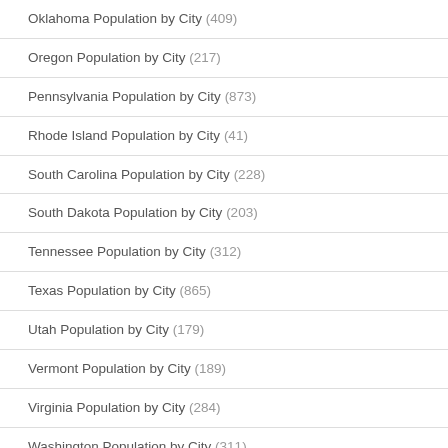Oklahoma Population by City (409)
Oregon Population by City (217)
Pennsylvania Population by City (873)
Rhode Island Population by City (41)
South Carolina Population by City (228)
South Dakota Population by City (203)
Tennessee Population by City (312)
Texas Population by City (865)
Utah Population by City (179)
Vermont Population by City (189)
Virginia Population by City (284)
Washington Population by City (311)
West Virginia Population by City (227)
Wisconsin Population by City (635)